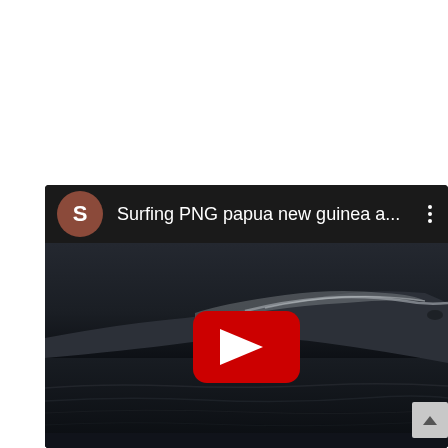[Figure (screenshot): Screenshot of a YouTube video card on a dark background showing a surfing video titled 'Surfing PNG papua new guinea a...' with a brown avatar circle showing the letter S, a YouTube play button overlay on an ocean wave thumbnail, and a three-dot menu icon.]